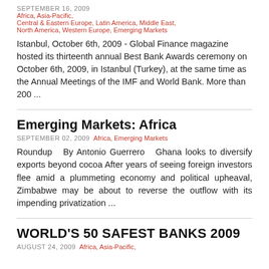SEPTEMBER 16, 2009  Africa, Asia-Pacific, Central & Eastern Europe, Latin America, Middle East, North America, Western Europe, Emerging Markets
Istanbul, October 6th, 2009 - Global Finance magazine hosted its thirteenth annual Best Bank Awards ceremony on October 6th, 2009, in Istanbul (Turkey), at the same time as the Annual Meetings of the IMF and World Bank. More than 200 ...
Emerging Markets: Africa
SEPTEMBER 02, 2009  Africa, Emerging Markets
Roundup  By Antonio Guerrero  Ghana looks to diversify exports beyond cocoa After years of seeing foreign investors flee amid a plummeting economy and political upheaval, Zimbabwe may be about to reverse the outflow with its impending privatization ...
WORLD'S 50 SAFEST BANKS 2009
AUGUST 24, 2009  Africa, Asia-Pacific,